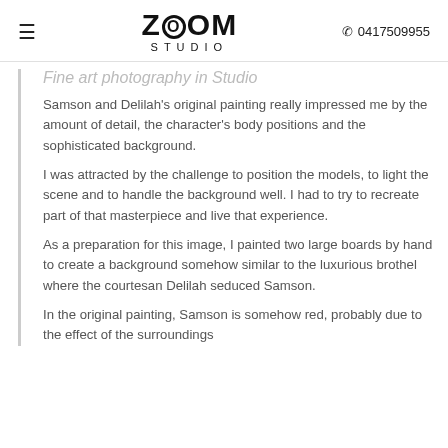ZOOM STUDIO  ☎ 0417509955
Fine art photography in Studio
Samson and Delilah's original painting really impressed me by the amount of detail, the character's body positions and the sophisticated background.
I was attracted by the challenge to position the models, to light the scene and to handle the background well. I had to try to recreate part of that masterpiece and live that experience.
As a preparation for this image, I painted two large boards by hand to create a background somehow similar to the luxurious brothel where the courtesan Delilah seduced Samson.
In the original painting, Samson is somehow red, probably due to the effect of the surroundings